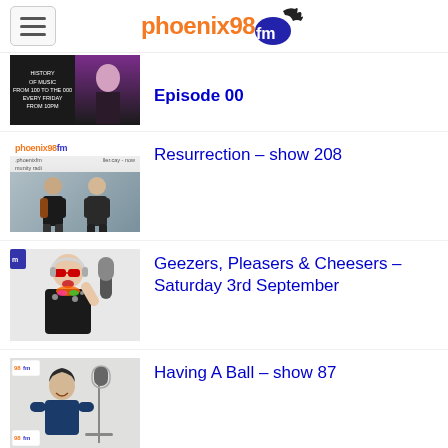phoenix98fm
[Figure (photo): Partially visible thumbnail for a radio show with yellow and dark background, cut off at top]
Episode 00
[Figure (photo): Two people standing in front of phoenix98fm studio banner]
Resurrection – show 208
[Figure (photo): Colorful DJ with sunglasses and headphones]
Geezers, Pleasers & Cheesers – Saturday 3rd September
[Figure (photo): Person sitting in radio studio with microphone]
Having A Ball – show 87